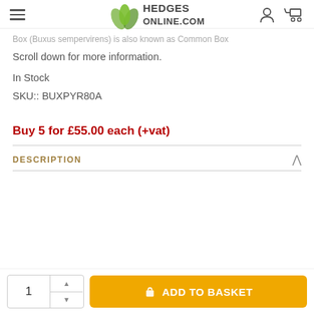HEDGES ONLINE.COM
Box (Buxus sempervirens) is also known as Common Box
Scroll down for more information.
In Stock
SKU:: BUXPYR80A
Buy 5 for £55.00 each (+vat)
DESCRIPTION